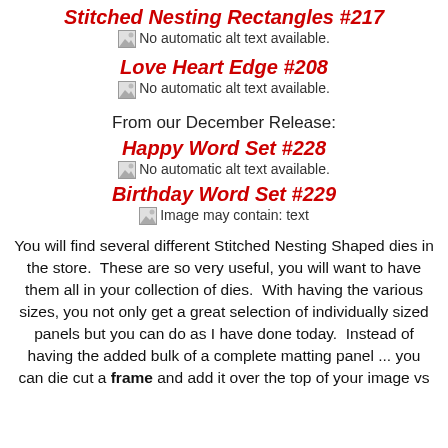Stitched Nesting Rectangles #217
[Figure (photo): Broken image placeholder: No automatic alt text available.]
Love Heart Edge #208
[Figure (photo): Broken image placeholder: No automatic alt text available.]
From our December Release:
Happy Word Set #228
[Figure (photo): Broken image placeholder: No automatic alt text available.]
Birthday Word Set #229
[Figure (photo): Broken image placeholder: Image may contain: text]
You will find several different Stitched Nesting Shaped dies in the store.  These are so very useful, you will want to have them all in your collection of dies.  With having the various sizes, you not only get a great selection of individually sized panels but you can do as I have done today.  Instead of having the added bulk of a complete matting panel ... you can die cut a frame and add it over the top of your image vs